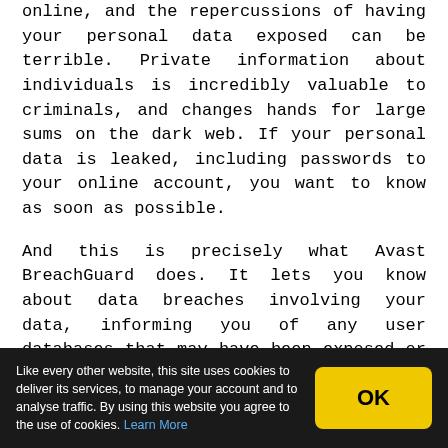online, and the repercussions of having your personal data exposed can be terrible. Private information about individuals is incredibly valuable to criminals, and changes hands for large sums on the dark web. If your personal data is leaked, including passwords to your online account, you want to know as soon as possible.
And this is precisely what Avast BreachGuard does. It lets you know about data breaches involving your data, informing you of any user databases that may have been exposed or websites that may have been hacked. Armed with this information, you can then change your passwords on any affected services to prevent someone from abusing your account or gaining access to further information about you.
But BreachGuard also goes further than this. Avast
Like every other website, this site uses cookies to deliver its services, to manage your account and to analyse traffic. By using this website you agree to the use of cookies. Learn More